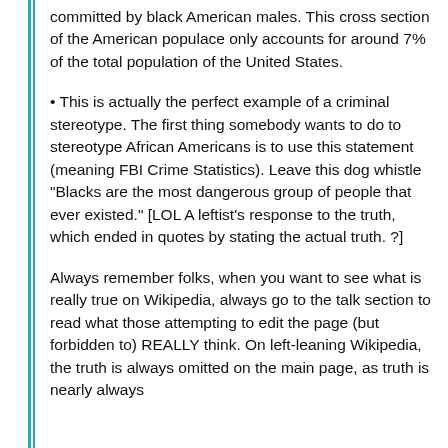committed by black American males. This cross section of the American populace only accounts for around 7% of the total population of the United States.
This is actually the perfect example of a criminal stereotype. The first thing somebody wants to do to stereotype African Americans is to use this statement (meaning FBI Crime Statistics). Leave this dog whistle "Blacks are the most dangerous group of people that ever existed." [LOL A leftist's response to the truth, which ended in quotes by stating the actual truth. ?]
Always remember folks, when you want to see what is really true on Wikipedia, always go to the talk section to read what those attempting to edit the page (but forbidden to) REALLY think. On left-leaning Wikipedia, the truth is always omitted on the main page, as truth is nearly always